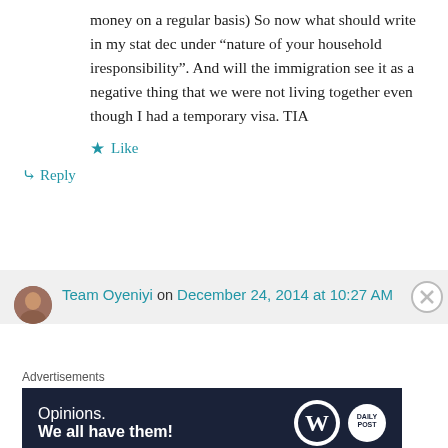money on a regular basis) So now what should write in my stat dec under “nature of your household iresponsibility”. And will the immigration see it as a negative thing that we were not living together even though I had a temporary visa. TIA
★ Like
➜ Reply
Team Oyeniyi on December 24, 2014 at 10:27 AM
Advertisements
[Figure (screenshot): WordPress advertisement banner: 'Opinions. We all have them!' with WordPress and Daily Post logos on dark navy background]